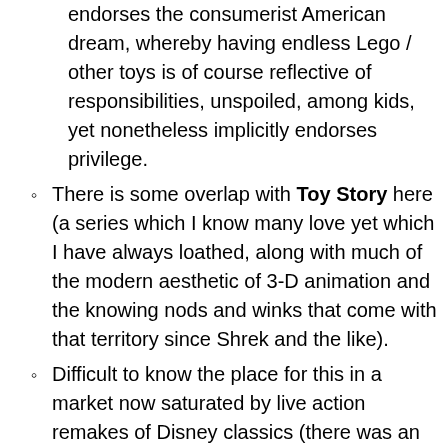endorses the consumerist American dream, whereby having endless Lego / other toys is of course reflective of responsibilities, unspoiled, among kids, yet nonetheless implicitly endorses privilege.
There is some overlap with Toy Story here (a series which I know many love yet which I have always loathed, along with much of the modern aesthetic of 3-D animation and the knowing nods and winks that come with that territory since Shrek and the like).
Difficult to know the place for this in a market now saturated by live action remakes of Disney classics (there was an accompanying trailer for DUMBO: Make it stop, please!).